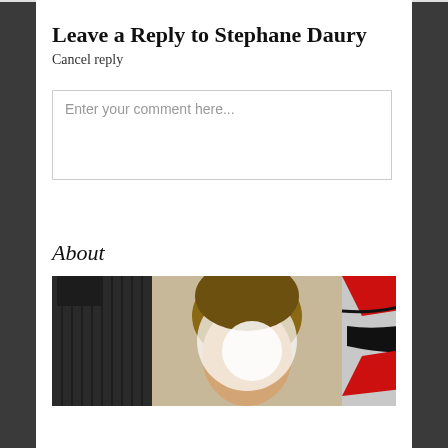Leave a Reply to Stephane Daury
Cancel reply
Enter your comment here...
About
[Figure (photo): Profile photo of a person with short brown hair, partially washed out by bright light. Left side shows dark vertical blinds/slats. Right side has a red and black graphic/logo element visible.]